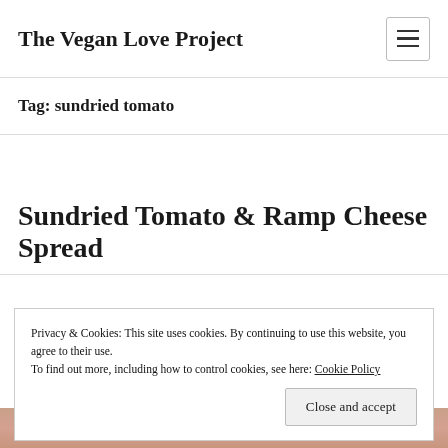The Vegan Love Project
Tag: sundried tomato
Sundried Tomato & Ramp Cheese Spread
Privacy & Cookies: This site uses cookies. By continuing to use this website, you agree to their use.
To find out more, including how to control cookies, see here: Cookie Policy
Close and accept
[Figure (photo): Partial photo of food item at bottom of page]